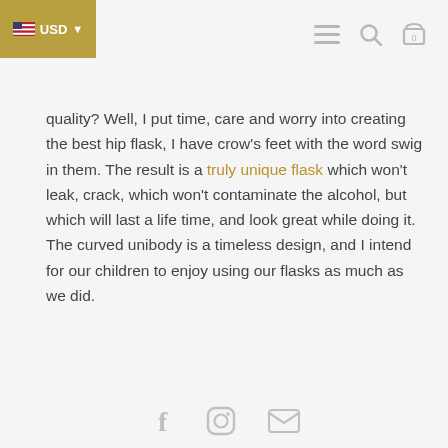USD 0
quality? Well, I put time, care and worry into creating the best hip flask, I have crow's feet with the word swig in them. The result is a truly unique flask which won't leak, crack, which won't contaminate the alcohol, but which will last a life time, and look great while doing it. The curved unibody is a timeless design, and I intend for our children to enjoy using our flasks as much as we did.
Social media icons: Facebook, Instagram, Email